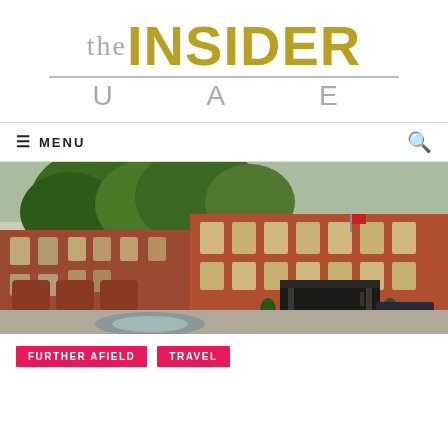the INSIDER UAE
≡ MENU
[Figure (photo): Exterior view of a luxury London hotel (The Connaught) in red brick Victorian architecture, with a large green tree in the foreground, fountain plaza, and a dark car parked outside.]
FURTHER AFIELD
TRAVEL